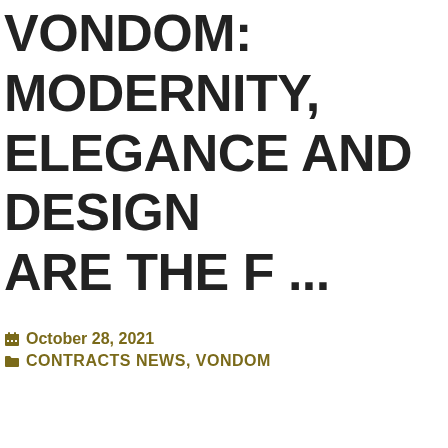VONDOM: MODERNITY, ELEGANCE AND DESIGN ARE THE F ...
October 28, 2021
CONTRACTS NEWS, VONDOM